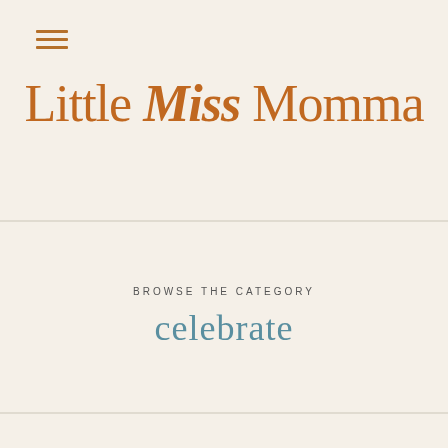[Figure (logo): Little Miss Momma blog logo in orange/rust color with 'Miss' in bold italic]
BROWSE THE CATEGORY
celebrate
CELEBRATE
Queen Bee Market